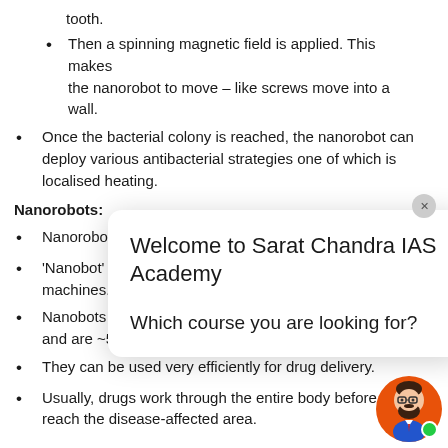tooth.
Then a spinning magnetic field is applied. This makes the nanorobot to move – like screws move into a wall.
Once the bacterial colony is reached, the nanorobot can deploy various antibacterial strategies one of which is localised heating.
Nanorobots:
Nanorobotics defines or robots at the nano
'Nanobot' is an infor machines.
Nanobots are robots and are ~50–100 nm wide.
They can be used very efficiently for drug delivery.
Usually, drugs work through the entire body before reach the disease-affected area.
[Figure (screenshot): Chat popup overlay with title 'Welcome to Sarat Chandra IAS Academy' and question 'Which course you are looking for?']
[Figure (illustration): Avatar icon of a bearded man with glasses and online indicator dot]